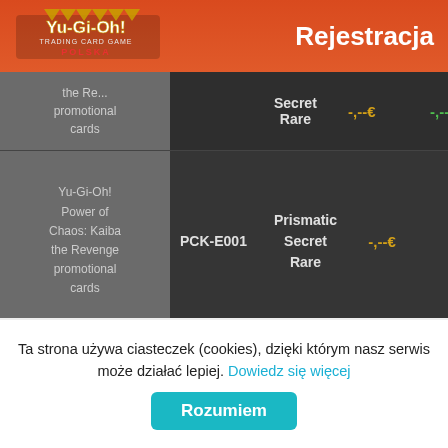[Figure (logo): Yu-Gi-Oh! Trading Card Game Polska logo in white on orange/red header background]
Rejestracja
| Set | Code | Rarity | Price 1 | Price 2 |
| --- | --- | --- | --- | --- |
| the Revenge promotional cards |  | Secret Rare | -,--€ | -,--€ |
| Yu-Gi-Oh! Power of Chaos: Kaiba the Revenge promotional cards | PCK-E001 | Prismatic Secret Rare | -,--€ | -,--€ |
| Yu-Gi-Oh! The Dark Side of Dimensions Movie Pack | MVP1-EN055 | Ultra Rare | -,--€ | -,--€ |
| Yu-Gi-Oh! |  |  |  |  |
Ta strona używa ciasteczek (cookies), dzięki którym nasz serwis może działać lepiej. Dowiedz się więcej
Rozumiem